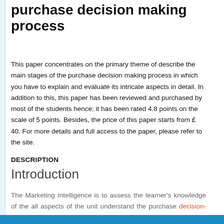purchase decision making process
This paper concentrates on the primary theme of describe the main stages of the purchase decision making process in which you have to explain and evaluate its intricate aspects in detail. In addition to this, this paper has been reviewed and purchased by most of the students hence; it has been rated 4.8 points on the scale of 5 points. Besides, the price of this paper starts from £ 40. For more details and full access to the paper, please refer to the site.
DESCRIPTION
Introduction
The Marketing Intelligence is to assess the learner's knowledge of the all aspects of the unit understand the purchase decision-making process and how marketing